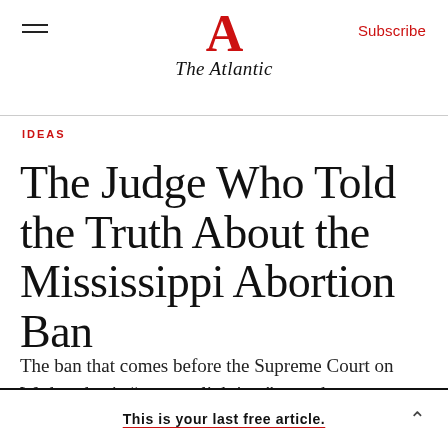The Atlantic
IDEAS
The Judge Who Told the Truth About the Mississippi Abortion Ban
The ban that comes before the Supreme Court on Wednesday is “pure gaslighting,” says the
This is your last free article.